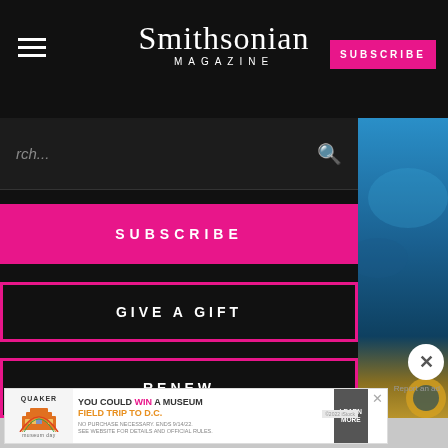Smithsonian MAGAZINE
Search...
SUBSCRIBE
GIVE A GIFT
RENEW
[Figure (photo): Aerial or satellite view of ocean water with what appears to be a lifebuoy or round object visible at bottom right of the panel]
Report an ad
RT NEWS
ry
Science
[Figure (other): Quaker Museum Day advertisement banner: YOU COULD WIN A MUSEUM FIELD TRIP TO D.C. NO PURCHASE NECESSARY. ENDS 9/14/22. SEE WEBSITE FOR DETAILS AND OFFICIAL RULES. LEARN MORE]